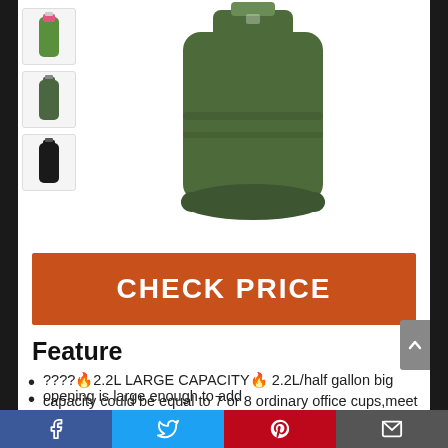[Figure (photo): Product photo of a dark green 2.2L large capacity water bottle, with thumbnail variants (pink/green, dark green, black) on the left side.]
CHECK PRICE
Feature
????🔥2.2L LARGE CAPACITY🔥 2.2L/half gallon big capacity could be equal to 7 or 8 ordinary office cups,meet your daily and fitness hydration needs
opening is large enough to add
Social share bar: Facebook, Twitter, Pinterest, Email